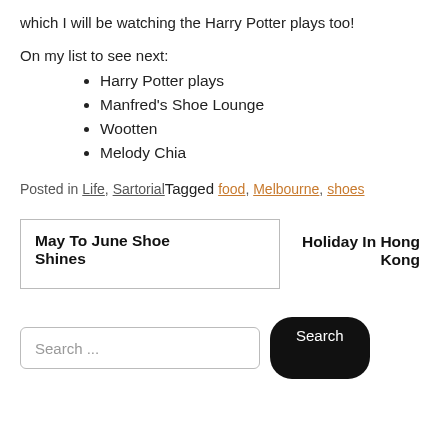which I will be watching the Harry Potter plays too!
On my list to see next:
Harry Potter plays
Manfred's Shoe Lounge
Wootten
Melody Chia
Posted in Life, SartorialTagged food, Melbourne, shoes
May To June Shoe Shines
Holiday In Hong Kong
Search ...